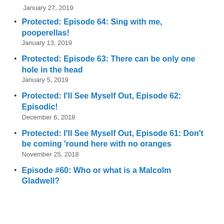January 27, 2019
Protected: Episode 64: Sing with me, pooperellas!
January 13, 2019
Protected: Episode 63: There can be only one hole in the head
January 5, 2019
Protected: I'll See Myself Out, Episode 62: Episodic!
December 6, 2018
Protected: I'll See Myself Out, Episode 61: Don't be coming 'round here with no oranges
November 25, 2018
Episode #60: Who or what is a Malcolm Gladwell?